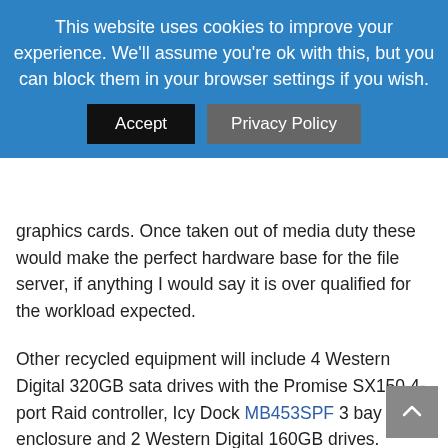This website uses cookies to improve your experience. We'll assume you're ok with this, but you can block them in your browser settings if you wish. [Accept] [Privacy Policy]
graphics cards. Once taken out of media duty these would make the perfect hardware base for the file server, if anything I would say it is over qualified for the workload expected.
Other recycled equipment will include 4 Western Digital 320GB sata drives with the Promise SX150 4-port Raid controller, Icy Dock MB453SPF 3 bay drive enclosure and 2 Western Digital 160GB drives.
Lastly is my old Enermax 370 Watt very quiet power supply. I have had the supply for a few years and it has been an excellent work horse. It comes from an era when 370 watts meant 370 watts not